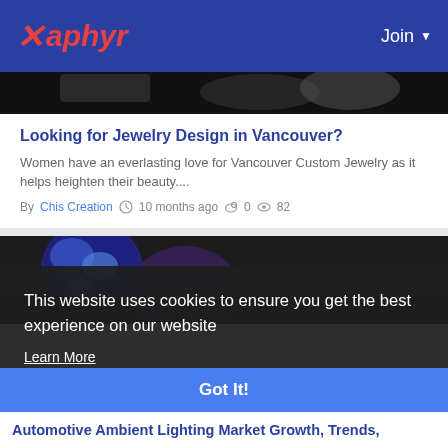Xaphyr | Join
[Figure (photo): Dark photo of jewelry pieces at top of page, partially cropped]
Looking for Jewelry Design in Vancouver?
Women have an everlasting love for Vancouver Custom Jewelry as it helps heighten their beauty....
By Chis Creation  10 months ago  0  82
[Figure (photo): Globe/earth illustration partially visible in a dark background card]
This website uses cookies to ensure you get the best experience on our website
Learn More
Got It!
Automotive Ambient Lighting Market Growth, Trends,